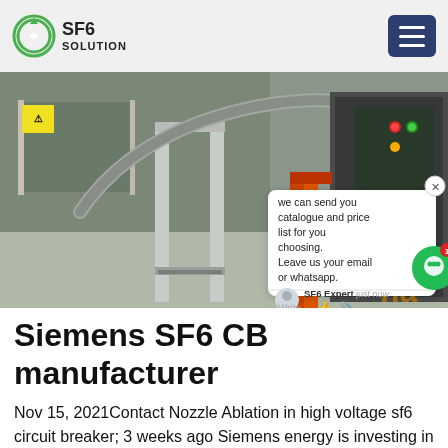SF6 SOLUTION
[Figure (photo): Industrial facility interior showing SF6 circuit breaker equipment: metal conduit tubing, white painted metal frames/posts, electrical control cabinet with indicator lights on right side (red/orange), concrete floor. A chat popup overlay shows text: 'we can send you catalogue and price list for you choosing. Leave us your email or whatsapp.' with SF6 Expert just now, Write label.]
Siemens SF6 CB manufacturer
Nov 15, 2021Contact Nozzle Ablation in high voltage sf6 circuit breaker; 3 weeks ago Siemens energy is investing in a vacuum interrupter plant in